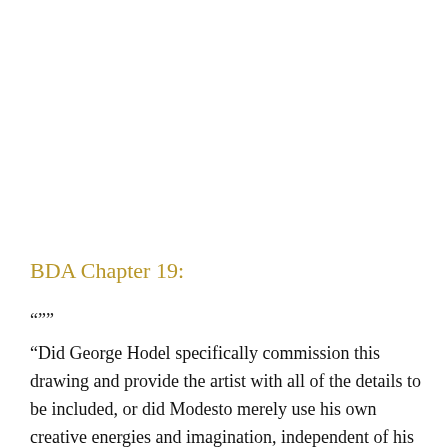BDA Chapter 19:
“””
“Did George Hodel specifically commission this drawing and provide the artist with all of the details to be included, or did Modesto merely use his own creative energies and imagination, independent of his patron? The answer may be hidden in the work itself and what it appears to represent. First, the work is a form of flattery: it’s an imitation of Man Ray’s “lovers’ lips” that extend